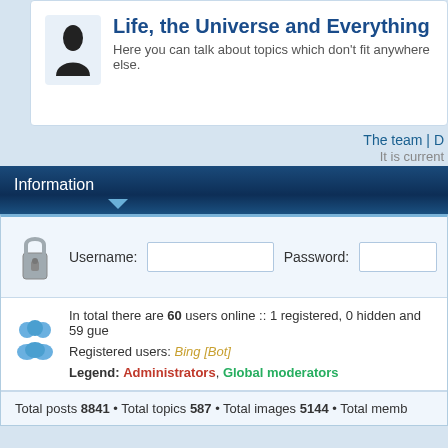Life, the Universe and Everything
Here you can talk about topics which don't fit anywhere else.
The team | D
It is current
Information
Username:
Password:
In total there are 60 users online :: 1 registered, 0 hidden and 59 gue
Registered users: Bing [Bot]
Legend: Administrators, Global moderators
Total posts 8841 • Total topics 587 • Total images 5144 • Total memb